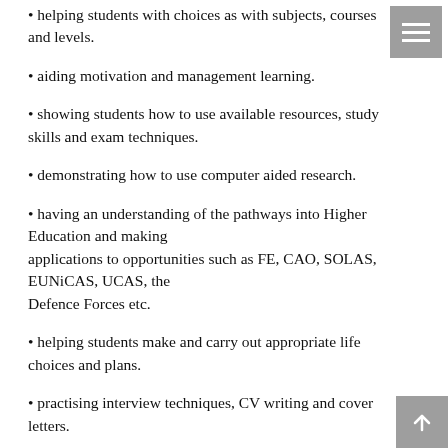helping students with choices as with subjects, courses and levels.
aiding motivation and management learning.
showing students how to use available resources, study skills and exam techniques.
demonstrating how to use computer aided research.
having an understanding of the pathways into Higher Education and making applications to opportunities such as FE, CAO, SOLAS, EUNiCAS, UCAS, the Defence Forces etc.
helping students make and carry out appropriate life choices and plans.
practising interview techniques, CV writing and cover letters.
identifying strengths and weakness from the results of